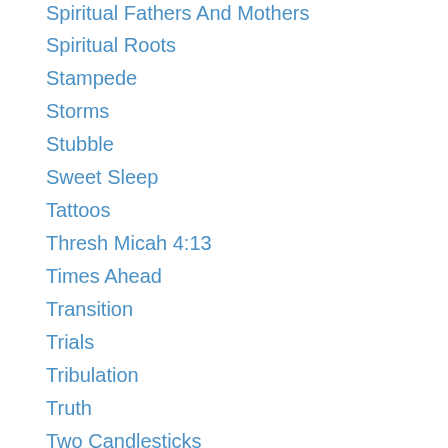Spiritual Fathers And Mothers
Spiritual Roots
Stampede
Storms
Stubble
Sweet Sleep
Tattoos
Thresh Micah 4:13
Times Ahead
Transition
Trials
Tribulation
Truth
Two Candlesticks
Two Olive Trees
Two Witnesses
Upper Room
Virus
Vision
War
Weeds